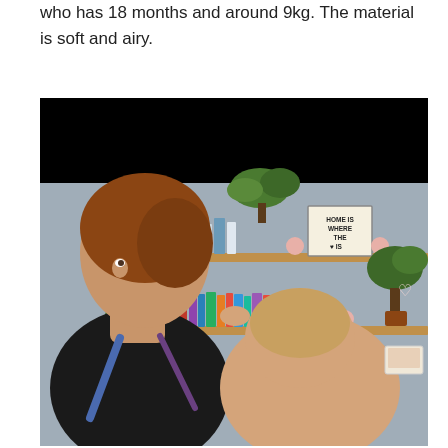who has 18 months and around 9kg. The material is soft and airy.
[Figure (photo): A woman carrying a baby on her back in a baby carrier. She is looking over her shoulder. The background shows a home interior with wooden shelves holding books, plants, decorative balls, and a sign reading 'HOME IS WHERE THE HEART IS'. The top portion of the image is blacked out.]